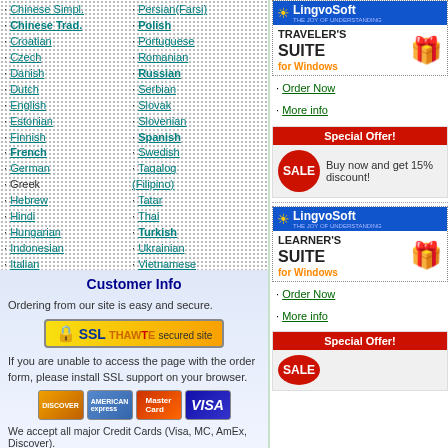Chinese Simpl., Persian (Farsi), Chinese Trad., Polish, Croatian, Portuguese, Czech, Romanian, Danish, Russian, Dutch, Serbian, English, Slovak, Estonian, Slovenian, Finnish, Spanish, French, Swedish, German, Tagalog (Filipino), Greek, Tatar, Hebrew, Thai, Hindi, Turkish, Hungarian, Ukrainian, Indonesian, Vietnamese, Italian, Yiddish
Customer Info
Ordering from our site is easy and secure.
[Figure (logo): SSL Thawte secured site badge]
If you are unable to access the page with the order form, please install SSL support on your browser.
[Figure (logo): Credit card logos: Discover, American Express, MasterCard, Visa]
We accept all major Credit Cards (Visa, MC, AmEx, Discover).
[Figure (logo): LingvoSoft Traveler's Suite for Windows product box]
Order Now
More info
[Figure (infographic): Special Offer! SALE - Buy now and get 15% discount!]
[Figure (logo): LingvoSoft Learner's Suite for Windows product box]
Order Now
More info
[Figure (infographic): Special Offer! SALE banner]